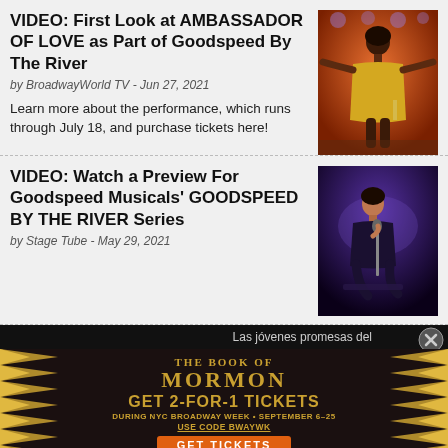VIDEO: First Look at AMBASSADOR OF LOVE as Part of Goodspeed By The River
by BroadwayWorld TV - Jun 27, 2021
[Figure (photo): Performer on stage in a gold outfit with arms outstretched, warm orange lighting and stage lights in background]
Learn more about the performance, which runs through July 18, and purchase tickets here!
VIDEO: Watch a Preview For Goodspeed Musicals' GOODSPEED BY THE RIVER Series
by Stage Tube - May 29, 2021
[Figure (photo): Performer on a dark stage singing into a microphone, purple lighting]
Las jóvenes promesas del
[Figure (infographic): Advertisement for The Book of Mormon musical: GET 2-FOR-1 TICKETS DURING NYC BROADWAY WEEK • SEPTEMBER 6-25 USE CODE BWAYWK GET TICKETS]